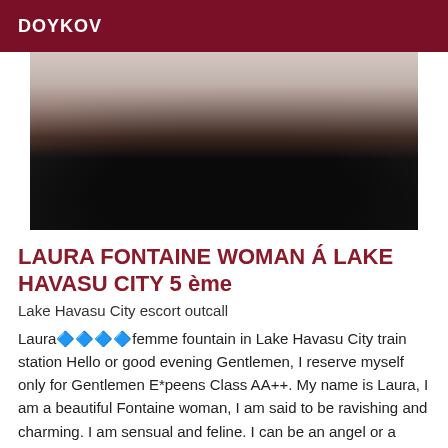DOYKOV
[Figure (photo): Photo of a blonde woman in black lingerie and stockings]
LAURA FONTAINE WOMAN Á LAKE HAVASU CITY 5 ème
Lake Havasu City escort outcall
Laura🔷🔷🔷🔷femme fountain in Lake Havasu City train station Hello or good evening Gentlemen, I reserve myself only for Gentlemen E*peens Class AA++. My name is Laura, I am a beautiful Fontaine woman, I am said to be ravishing and charming. I am sensual and feline. I can be an angel or a demo. I propose you to welcome you at my home in my beautiful private apartment in exceptional for the...